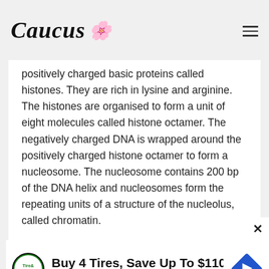Caucus [logo with rose flower]
positively charged basic proteins called histones. They are rich in lysine and arginine. The histones are organised to form a unit of eight molecules called histone octamer. The negatively charged DNA is wrapped around the positively charged histone octamer to form a nucleosome. The nucleosome contains 200 bp of the DNA helix and nucleosomes form the repeating units of a structure of the nucleolus, called chromatin.
[Figure (other): Advertisement banner: Buy 4 Tires, Save Up To $110 - Virginia Tire & Auto of Ashburn with tire shop logo and blue diamond directional sign]